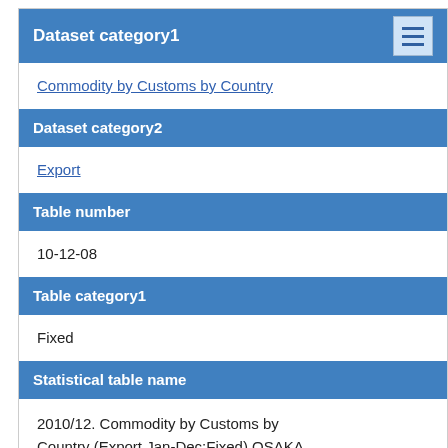Dataset category1
Commodity by Customs by Country
Dataset category2
Export
Table number
10-12-08
Table category1
Fixed
Statistical table name
2010/12. Commodity by Customs by Country (Export Jan-Dec:Fixed) OSAKA
Dataset overview